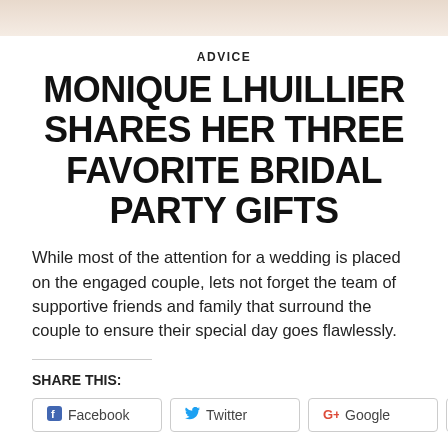[Figure (photo): Top portion of a bridal/wedding photo strip, partially visible at the top of the page]
ADVICE
MONIQUE LHUILLIER SHARES HER THREE FAVORITE BRIDAL PARTY GIFTS
While most of the attention for a wedding is placed on the engaged couple, lets not forget the team of supportive friends and family that surround the couple to ensure their special day goes flawlessly.
SHARE THIS:
Facebook
Twitter
Google
Pinterest
Tumblr
Reddit